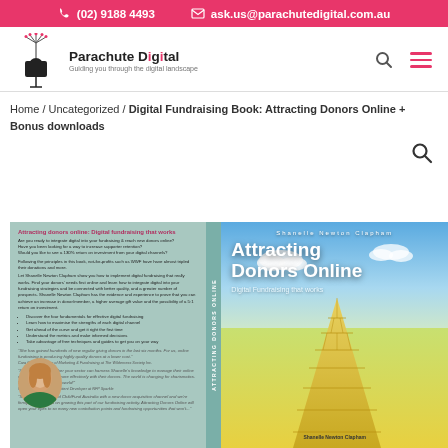(02) 9188 4493   ask.us@parachutedigital.com.au
[Figure (logo): Parachute Digital logo with dandelion/parachute graphic and tagline: Guiding you through the digital landscape]
Home / Uncategorized / Digital Fundraising Book: Attracting Donors Online + Bonus downloads
[Figure (illustration): Cover of the book 'Attracting Donors Online: Digital Fundraising that works' by Shanelle Newton Clapham, showing back cover with text and front cover with a yellow brick road under a blue sky.]